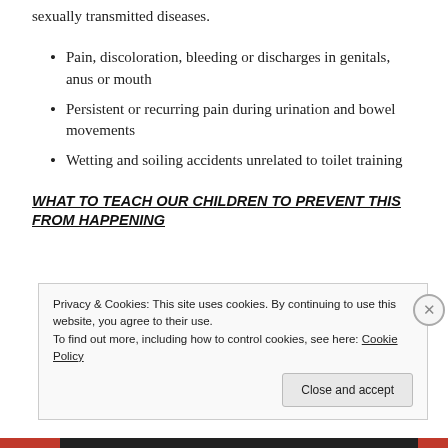sexually transmitted diseases.
Pain, discoloration, bleeding or discharges in genitals, anus or mouth
Persistent or recurring pain during urination and bowel movements
Wetting and soiling accidents unrelated to toilet training
WHAT TO TEACH OUR CHILDREN TO PREVENT THIS FROM HAPPENING
Privacy & Cookies: This site uses cookies. By continuing to use this website, you agree to their use.
To find out more, including how to control cookies, see here: Cookie Policy